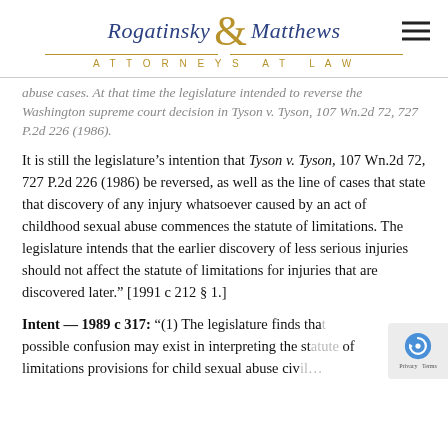Rogatinsky & Matthews ATTORNEYS AT LAW
abuse cases. At that time the legislature intended to reverse the Washington supreme court decision in Tyson v. Tyson, 107 Wn.2d 72, 727 P.2d 226 (1986).
It is still the legislature’s intention that Tyson v. Tyson, 107 Wn.2d 72, 727 P.2d 226 (1986) be reversed, as well as the line of cases that state that discovery of any injury whatsoever caused by an act of childhood sexual abuse commences the statute of limitations. The legislature intends that the earlier discovery of less serious injuries should not affect the statute of limitations for injuries that are discovered later.” [1991 c 212 § 1.]
Intent — 1989 c 317: “(1) The legislature finds that possible confusion may exist in interpreting the statute of limitations provisions for child sexual abuse civil…